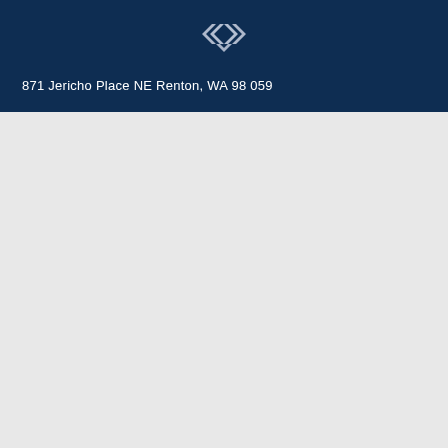[Figure (logo): Diamond/chevron shaped logo mark in white/silver on dark navy blue background, consisting of overlapping angular bracket shapes forming a diamond pattern]
871 Jericho Place NE Renton, WA 98059